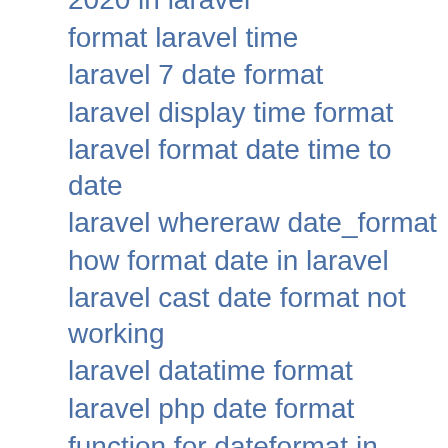2020 in laravel
format laravel time
laravel 7 date format
laravel display time format
laravel format date time to date
laravel whereraw date_format
how format date in laravel
laravel cast date format not working
laravel datatime format
laravel php date format
function for dateformat in laravel
formattted time laravel
format input date in laravel
laravel table date format